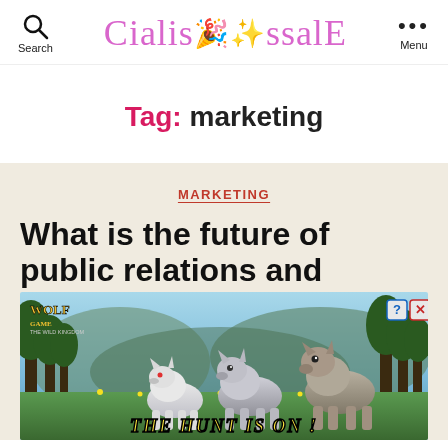CialisSsalE
Tag: marketing
MARKETING
What is the future of public relations and
[Figure (photo): Wolf Game: The Wild Kingdom advertisement banner showing three wolves in a meadow with trees in the background and text 'THE HUNT IS ON!']